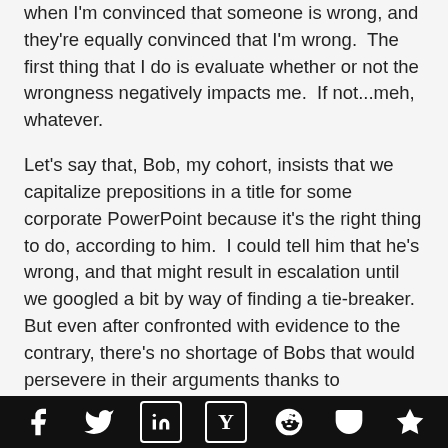when I'm convinced that someone is wrong, and they're equally convinced that I'm wrong.  The first thing that I do is evaluate whether or not the wrongness negatively impacts me.  If not...meh, whatever.
Let's say that, Bob, my cohort, insists that we capitalize prepositions in a title for some corporate PowerPoint because it's the right thing to do, according to him.  I could tell him that he's wrong, and that might result in escalation until we googled a bit by way of finding a tie-breaker.  But even after confronted with evidence to the contrary, there's no shortage of Bobs that would persevere in their arguments thanks to confirmation bias.  I often let them because
[social sharing bar with Facebook, Twitter, LinkedIn, Hacker News, Reddit, Pocket, Product Hunt icons]